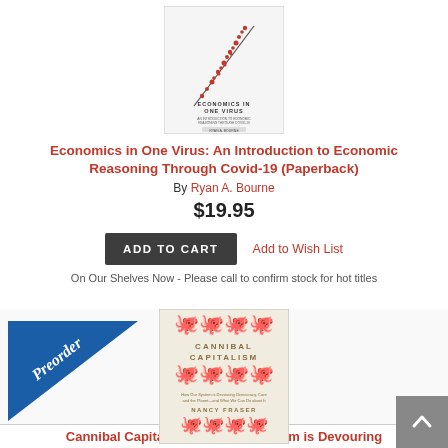[Figure (illustration): Book cover for Economics in One Virus by Ryan A. Bourne, showing a scatter plot graphic with red dots along a diagonal line on a white/light background]
Economics in One Virus: An Introduction to Economic Reasoning Through Covid-19 (Paperback)
By Ryan A. Bourne
$19.95
ADD TO CART   Add to Wish List
On Our Shelves Now - Please call to confirm stock for hot titles
[Figure (illustration): Book cover for Cannibal Capitalism by Nancy Fraser, showing decorative octopus/spiral motifs in beige/tan tones]
[Figure (illustration): Preorder badge: triangular blue banner with 'Preorder' in white script text]
Cannibal Capitalism: How our System is Devouring